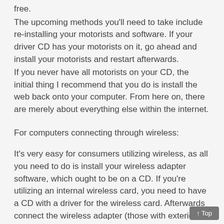free.
The upcoming methods you'll need to take include re-installing your motorists and software. If your driver CD has your motorists on it, go ahead and install your motorists and restart afterwards.
If you never have all motorists on your CD, the initial thing I recommend that you do is install the web back onto your computer. From here on, there are merely about everything else within the internet.
For computers connecting through wireless:
It's very easy for consumers utilizing wireless, as all you need to do is install your wireless adapter software, which ought to be on a CD. If you're utilizing an internal wireless card, you need to have a CD with a driver for the wireless card. Afterwards connect the wireless adapter (those with exterior wireless) and you really need to be advantageous to go.
For computers connecting through wired routers: